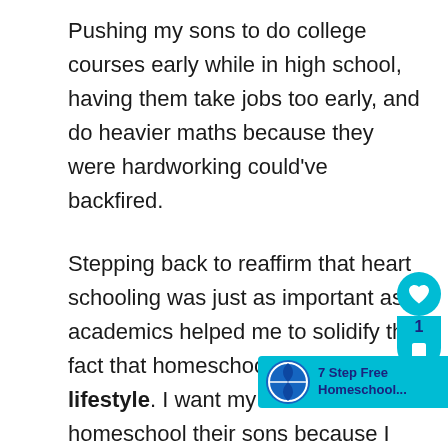Pushing my sons to do college courses early while in high school, having them take jobs too early, and do heavier maths because they were hardworking could've backfired.
Stepping back to reaffirm that heart schooling was just as important as academics helped me to solidify the fact that homeschooling is a lifestyle. I want my sons to homeschool their sons because I believe it's the best way to teach a child